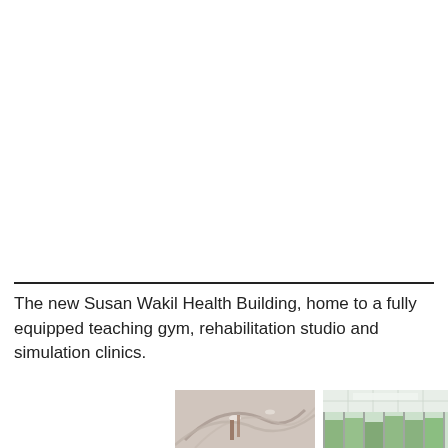[Figure (photo): Large photograph (upper portion of page) — white/blank area representing the Susan Wakil Health Building interior or exterior, cropped at top]
The new Susan Wakil Health Building, home to a fully equipped teaching gym, rehabilitation studio and simulation clinics.
[Figure (photo): Interior photo of Susan Wakil Health Building — ceiling with curved architectural elements and lighting]
[Figure (photo): Interior photo of Susan Wakil Health Building — bright room with large windows and glass walls showing green outside]